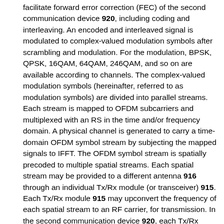facilitate forward error correction (FEC) of the second communication device 920, including coding and interleaving. An encoded and interleaved signal is modulated to complex-valued modulation symbols after scrambling and modulation. For the modulation, BPSK, QPSK, 16QAM, 64QAM, 246QAM, and so on are available according to channels. The complex-valued modulation symbols (hereinafter, referred to as modulation symbols) are divided into parallel streams. Each stream is mapped to OFDM subcarriers and multiplexed with an RS in the time and/or frequency domain. A physical channel is generated to carry a time-domain OFDM symbol stream by subjecting the mapped signals to IFFT. The OFDM symbol stream is spatially precoded to multiple spatial streams. Each spatial stream may be provided to a different antenna 916 through an individual Tx/Rx module (or transceiver) 915. Each Tx/Rx module 915 may upconvert the frequency of each spatial stream to an RF carrier, for transmission. In the second communication device 920, each Tx/Rx module (or transceiver) 925 receives a signal of the RF carrier through each antenna 926. Each Tx/Rx module 925 recovers the signal of the RF carrier to a baseband signal and provides the baseband signal to the Rx processor 923. The Rx